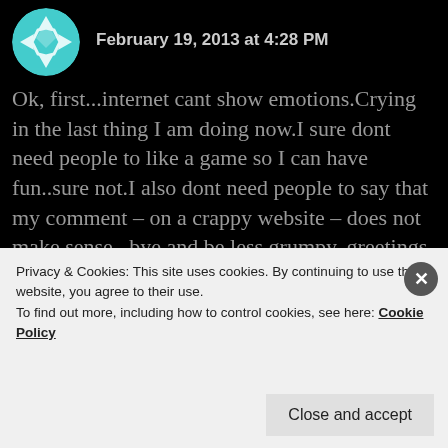February 19, 2013 at 4:28 PM
Ok, first...internet cant show emotions.Crying in the last thing I am doing now.I sure dont need people to like a game so I can have fun..sure not.I also dont need people to say that my comment – on a crappy website – does not make sense...bye and be less grumpy..greetings from Brazil.I also dont know why you need to win a conversation on the internet and begin to creat crazy points here.
Privacy & Cookies: This site uses cookies. By continuing to use this website, you agree to their use.
To find out more, including how to control cookies, see here: Cookie Policy
Close and accept